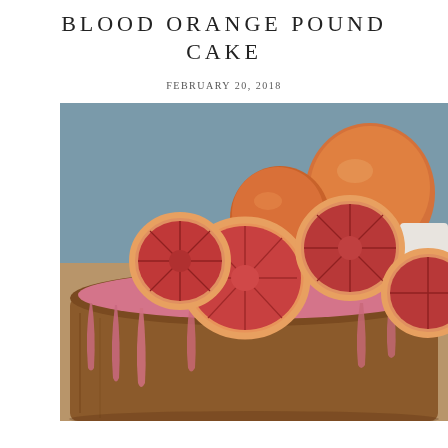BLOOD ORANGE POUND CAKE
FEBRUARY 20, 2018
[Figure (photo): Close-up photograph of a blood orange pound cake with pink glaze dripping down the sides, topped with sliced blood oranges showing their deep red interior. Whole blood oranges are blurred in the background.]